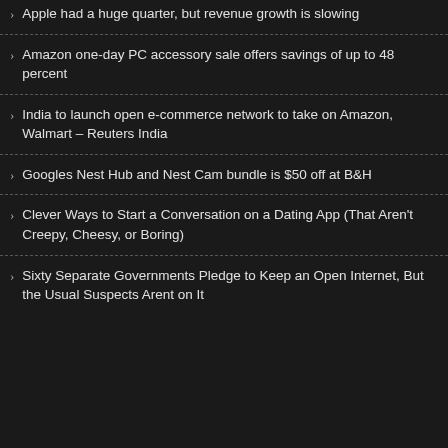Apple had a huge quarter, but revenue growth is slowing
Amazon one-day PC accessory sale offers savings of up to 48 percent
India to launch open e-commerce network to take on Amazon, Walmart – Reuters India
Googles Nest Hub and Nest Cam bundle is $50 off at B&H
Clever Ways to Start a Conversation on a Dating App (That Aren't Creepy, Cheesy, or Boring)
Sixty Separate Governments Pledge to Keep an Open Internet, But the Usual Suspects Arent on It